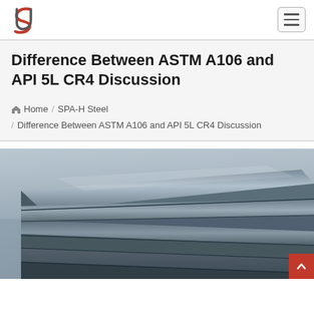Navigation bar with logo and hamburger menu
Difference Between ASTM A106 and API 5L CR4 Discussion
Home / SPA-H Steel / Difference Between ASTM A106 and API 5L CR4 Discussion
[Figure (photo): Close-up photo of stacked steel plates/sheets with metallic blue-gray surface, viewed from an angle showing multiple layers.]